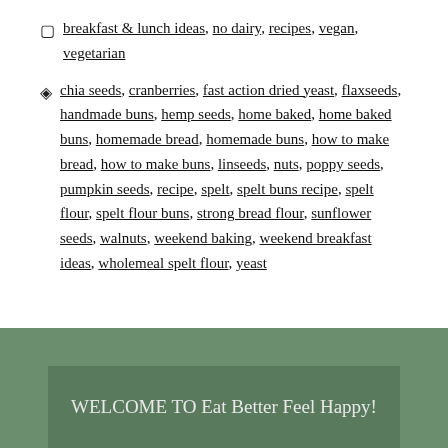breakfast & lunch ideas, no dairy, recipes, vegan, vegetarian
chia seeds, cranberries, fast action dried yeast, flaxseeds, handmade buns, hemp seeds, home baked, home baked buns, homemade bread, homemade buns, how to make bread, how to make buns, linseeds, nuts, poppy seeds, pumpkin seeds, recipe, spelt, spelt buns recipe, spelt flour, spelt flour buns, strong bread flour, sunflower seeds, walnuts, weekend baking, weekend breakfast ideas, wholemeal spelt flour, yeast
WELCOME TO Eat Better Feel Happy!